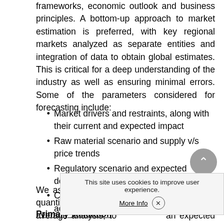frameworks, economic outlook and business principles. A bottom-up approach to market estimation is preferred, with key regional markets analyzed as separate entities and integration of data to obtain global estimates. This is critical for a deep understanding of the industry as well as ensuring minimal errors. Some of the parameters considered for forecasting include:
Market drivers and restraints, along with their current and expected impact
Raw material scenario and supply v/s price trends
Regulatory scenario and expected developments
Current capacity and expected capacity additions up to 2025
We assign weights to these parameters and quantify their market impact using weighted average analysis, to derive an expected market growth
Primary validation